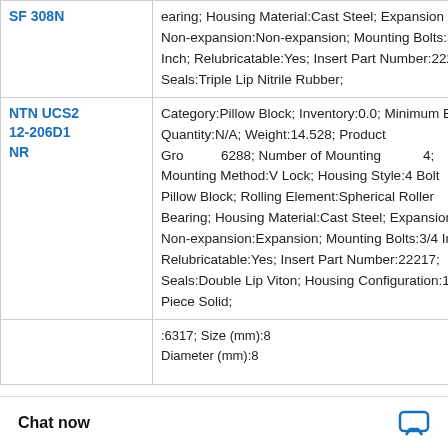| Part Number | Description |
| --- | --- |
| SF 308N (partial) | earing; Housing Material:Cast Steel; Expansion / Non-expansion:Non-expansion; Mounting Bolts:3/4 Inch; Relubricatable:Yes; Insert Part Number:22219; Seals:Triple Lip Nitrile Rubber; |
| NTN UCS212-206D1NR | Category:Pillow Block; Inventory:0.0; Minimum Buy Quantity:N/A; Weight:14.528; Product Group:M06288; Number of Mounting Holes:4; Mounting Method:V Lock; Housing Style:4 Bolt Pillow Block; Rolling Element:Spherical Roller Bearing; Housing Material:Cast Steel; Expansion / Non-expansion:Expansion; Mounting Bolts:3/4 Inch; Relubricatable:Yes; Insert Part Number:22217; Seals:Double Lip Viton; Housing Configuration:1 Piece Solid; |
| (partial) | :6317; Size (mm):8 Diameter (mm):8 |
[Figure (illustration): WhatsApp Online chat widget overlay with green WhatsApp icon, italic bold 'WhatsApp Online' text, X close button, and dots menu box]
Chat now